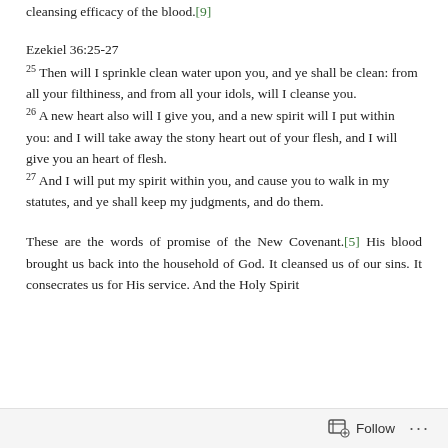cleansing efficacy of the blood.[9]
Ezekiel 36:25-27
25 Then will I sprinkle clean water upon you, and ye shall be clean: from all your filthiness, and from all your idols, will I cleanse you. 26 A new heart also will I give you, and a new spirit will I put within you: and I will take away the stony heart out of your flesh, and I will give you an heart of flesh. 27 And I will put my spirit within you, and cause you to walk in my statutes, and ye shall keep my judgments, and do them.
These are the words of promise of the New Covenant.[5] His blood brought us back into the household of God. It cleansed us of our sins. It consecrates us for His service. And the Holy Spirit
Follow